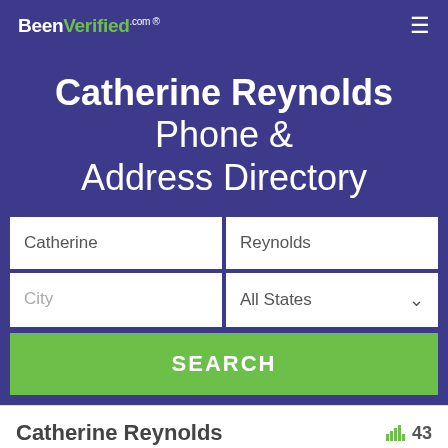BeenVerified.com
Catherine Reynolds Phone & Address Directory
Catherine | Reynolds
City | All States
SEARCH
Catherine Reynolds  43
Philadelphia, Pennsylvania